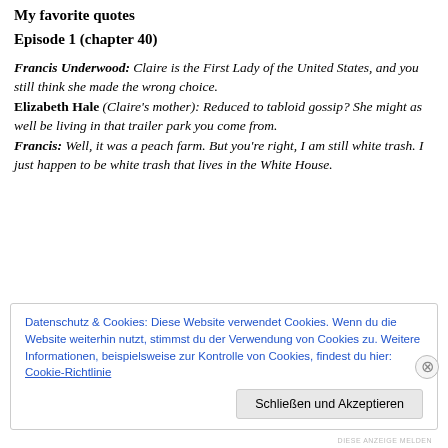My favorite quotes
Episode 1 (chapter 40)
Francis Underwood: Claire is the First Lady of the United States, and you still think she made the wrong choice.
Elizabeth Hale (Claire's mother): Reduced to tabloid gossip? She might as well be living in that trailer park you come from.
Francis: Well, it was a peach farm. But you're right, I am still white trash. I just happen to be white trash that lives in the White House.
Datenschutz & Cookies: Diese Website verwendet Cookies. Wenn du die Website weiterhin nutzt, stimmst du der Verwendung von Cookies zu. Weitere Informationen, beispielsweise zur Kontrolle von Cookies, findest du hier: Cookie-Richtlinie
Schließen und Akzeptieren